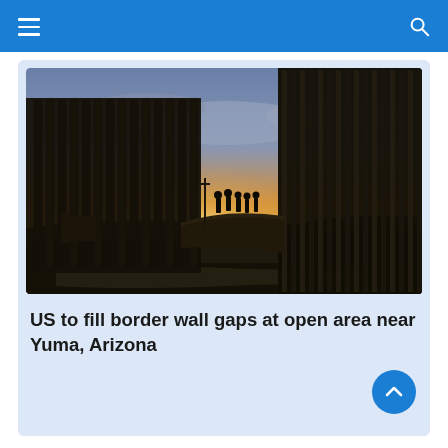Navigation bar with menu and search icons
[Figure (photo): Silhouette photo of a US-Mexico border wall at sunset near Yuma, Arizona. Two sections of tall metal border fencing are visible on the left and right sides, with a gap in the middle showing a dramatic orange and golden sunset sky with clouds. Several silhouetted figures of people stand on an elevated mound in the gap between the fence sections.]
US to fill border wall gaps at open area near Yuma, Arizona